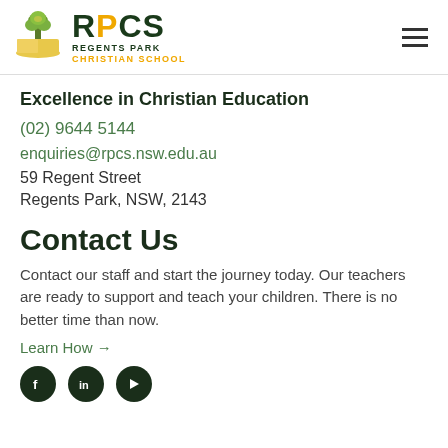[Figure (logo): RPCS Regents Park Christian School logo with tree/book icon]
Excellence in Christian Education
(02) 9644 5144
enquiries@rpcs.nsw.edu.au
59 Regent Street
Regents Park, NSW, 2143
Contact Us
Contact our staff and start the journey today. Our teachers are ready to support and teach your children. There is no better time than now.
Learn How →
[Figure (illustration): Social media icons: Facebook, LinkedIn, YouTube in dark green circles]